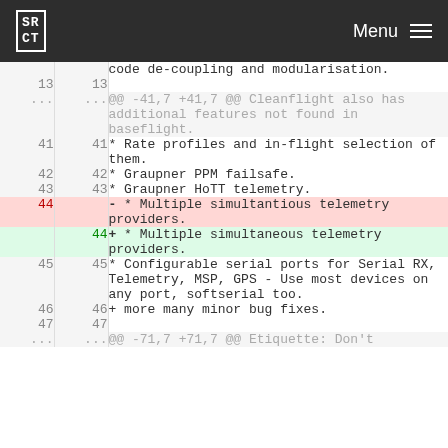SRCT | Menu
code de-coupling and modularisation.
13  13
...  ...  @@ -41,7 +41,7 @@ Cleanflight also has additional features not found in baseflight.
41  41  * Rate profiles and in-flight selection of them.
42  42  * Graupner PPM failsafe.
43  43  * Graupner HoTT telemetry.
44      - * Multiple simultantious telemetry providers.
    44  + * Multiple simultaneous telemetry providers.
45  45  * Configurable serial ports for Serial RX, Telemetry, MSP, GPS - Use most devices on any port, softserial too.
46  46  + more many minor bug fixes.
47  47
...  ...  @@ -71,7 +71,7 @@ Etiquette: Don't